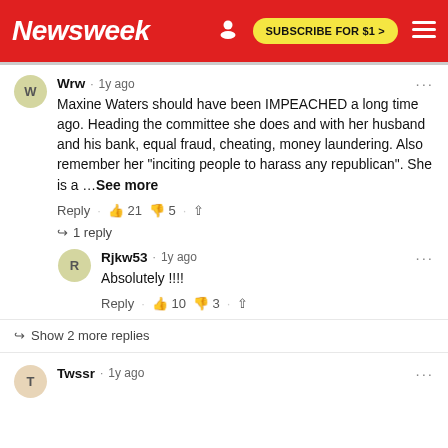Newsweek | SUBSCRIBE FOR $1 >
Wrw · 1y ago
Maxine Waters should have been IMPEACHED a long time ago. Heading the committee she does and with her husband and his bank, equal fraud, cheating, money laundering. Also remember her "inciting people to harass any republican". She is a ...See more
Reply · 👍 21 👎 5 · Share
↳ 1 reply
Rjkw53 · 1y ago
Absolutely !!!!
Reply · 👍 10 👎 3 · Share
↳ Show 2 more replies
Twssr · 1y ago